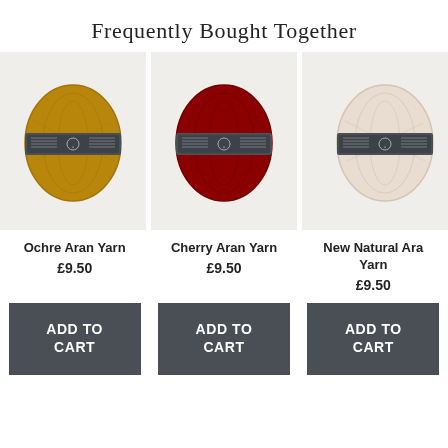Frequently Bought Together
[Figure (photo): Ball of ochre/mustard yellow aran yarn with grey label band]
[Figure (photo): Ball of cherry/dark red aran yarn with grey label band]
[Figure (photo): Ball of natural/cream aran yarn with grey label band]
Ochre Aran Yarn
£9.50
Cherry Aran Yarn
£9.50
New Natural Aran Yarn
£9.50
ADD TO CART
ADD TO CART
ADD TO CART